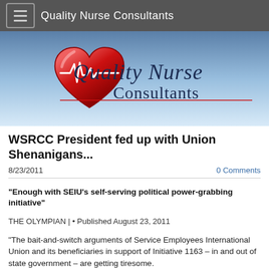Quality Nurse Consultants
[Figure (logo): Quality Nurse Consultants logo: red heart with EKG line and italic script text 'Quality Nurse Consultants' on blue gradient background]
WSRCC President fed up with Union Shenanigans...
8/23/2011
0 Comments
"Enough with SEIU's self-serving political power-grabbing initiative"
THE OLYMPIAN | • Published August 23, 2011
"The bait-and-switch arguments of Service Employees International Union and its beneficiaries in support of Initiative 1163 – in and out of state government – are getting tiresome.